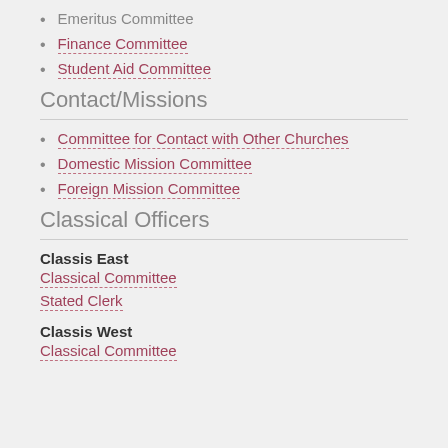Emeritus Committee
Finance Committee
Student Aid Committee
Contact/Missions
Committee for Contact with Other Churches
Domestic Mission Committee
Foreign Mission Committee
Classical Officers
Classis East
Classical Committee
Stated Clerk
Classis West
Classical Committee